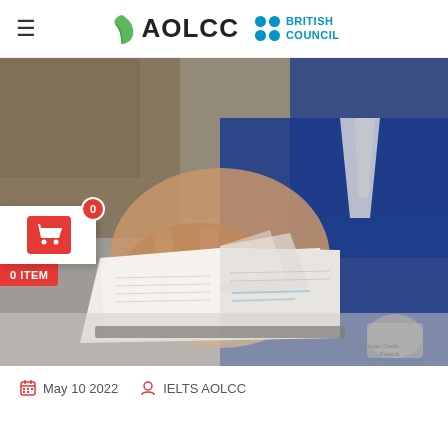AOLCC — British Council
[Figure (photo): Person in blue jacket flipping through pages of an open book on a table, library/study setting in background. Overlaid with a shopping cart widget showing 0 items.]
May 10 2022    IELTS AOLCC